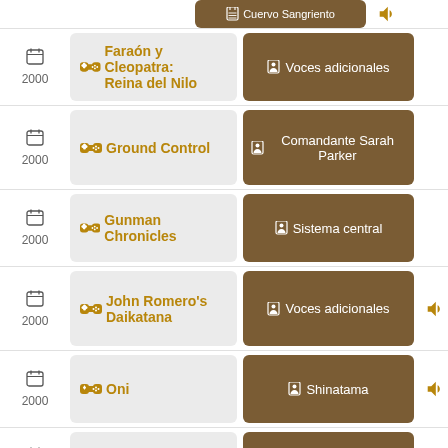Cuervo Sangriento
2000 | Faraón y Cleopatra: Reina del Nilo | Voces adicionales
2000 | Ground Control | Comandante Sarah Parker
2000 | Gunman Chronicles | Sistema central
2000 | John Romero's Daikatana | Voces adicionales
2000 | Oni | Shinatama
2000 | Soulbringer | (role icon only)
2000 | Tenchu 2: Birth of the Stealth Assassins | Ayame